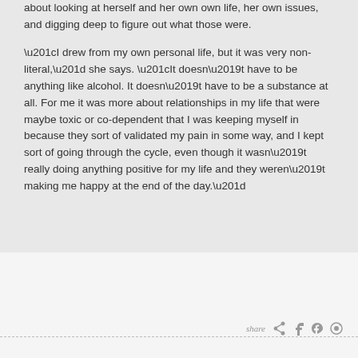about looking at herself and her own own life, her own issues, and digging deep to figure out what those were.
“I drew from my own personal life, but it was very non-literal,” she says. “It doesn’t have to be anything like alcohol. It doesn’t have to be a substance at all. For me it was more about relationships in my life that were maybe toxic or co-dependent that I was keeping myself in because they sort of validated my pain in some way, and I kept sort of going through the cycle, even though it wasn’t really doing anything positive for my life and they weren’t making me happy at the end of the day.”
share